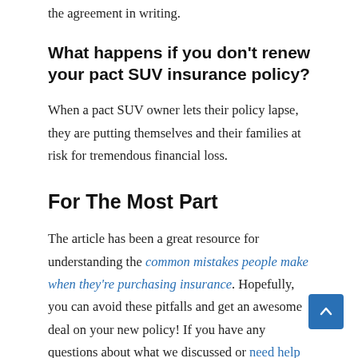the agreement in writing.
What happens if you don't renew your pact SUV insurance policy?
When a pact SUV owner lets their policy lapse, they are putting themselves and their families at risk for tremendous financial loss.
For The Most Part
The article has been a great resource for understanding the common mistakes people make when they're purchasing insurance. Hopefully, you can avoid these pitfalls and get an awesome deal on your new policy! If you have any questions about what we discussed or need help with